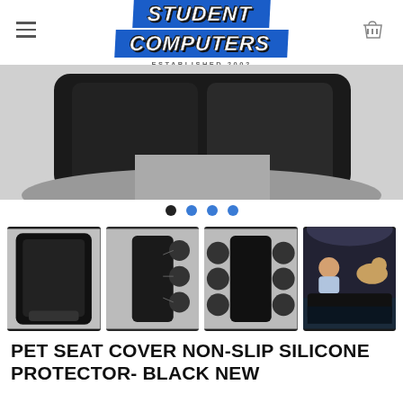Student Computers — Established 2002
[Figure (photo): Close-up photo of a black car seat protector/cover placed on a car seat, dark product image cropped at top]
[Figure (other): Four navigation dots: one black, three blue, indicating a carousel of product images]
[Figure (photo): Four product thumbnail images: 1) black seat protector on car seat, 2) black protector with feature callouts, 3) front view with feature circles, 4) lifestyle image with baby and dog in car]
PET SEAT COVER NON-SLIP SILICONE PROTECTOR- BLACK NEW